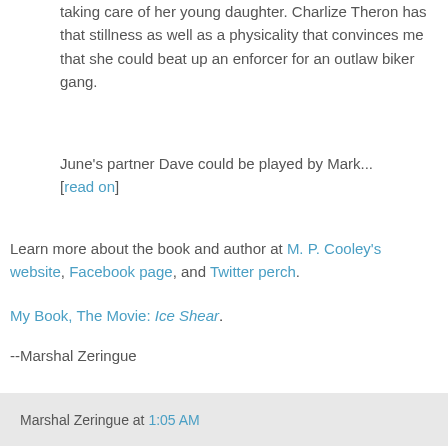taking care of her young daughter. Charlize Theron has that stillness as well as a physicality that convinces me that she could beat up an enforcer for an outlaw biker gang.
June's partner Dave could be played by Mark... [read on]
Learn more about the book and author at M. P. Cooley's website, Facebook page, and Twitter perch.
My Book, The Movie: Ice Shear.
--Marshal Zeringue
Marshal Zeringue at 1:05 AM
Monday, August 25, 2014
Five entertaining novels that will also stimulate your brain